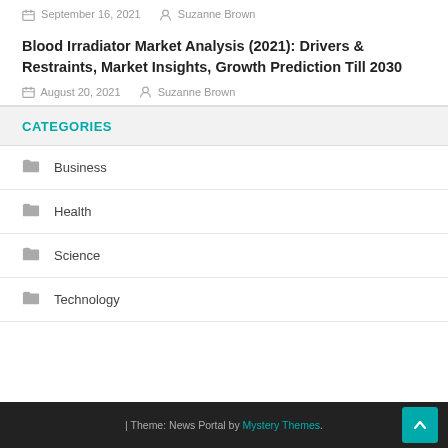September 16, 2021   Suzanne Brown
Blood Irradiator Market Analysis (2021): Drivers & Restraints, Market Insights, Growth Prediction Till 2030
August 20, 2021   Suzanne Brown
CATEGORIES
Business
Health
Science
Technology
| Theme: News Portal by Mystery Themes.